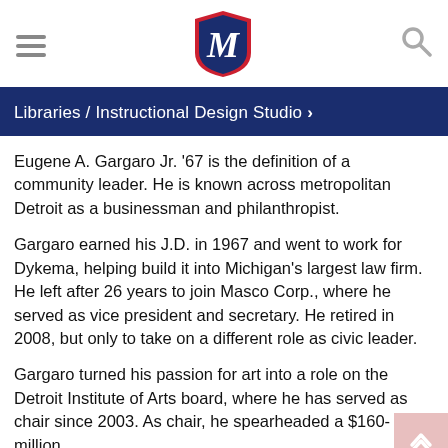University of Detroit Mercy — Libraries / Instructional Design Studio
Libraries / Instructional Design Studio ›
Eugene A. Gargaro Jr. '67 is the definition of a community leader. He is known across metropolitan Detroit as a businessman and philanthropist.
Gargaro earned his J.D. in 1967 and went to work for Dykema, helping build it into Michigan's largest law firm. He left after 26 years to join Masco Corp., where he served as vice president and secretary. He retired in 2008, but only to take on a different role as civic leader.
Gargaro turned his passion for art into a role on the Detroit Institute of Arts board, where he has served as chair since 2003. As chair, he spearheaded a $160-million renovation of the museum and helped the success of a landmark...